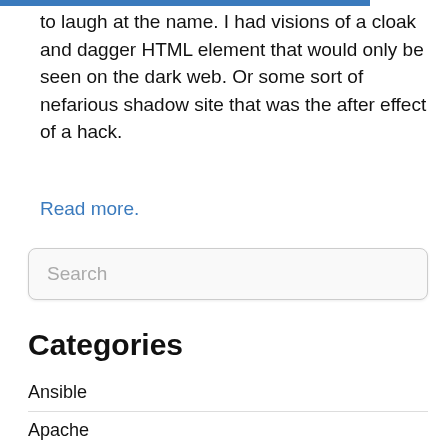to laugh at the name. I had visions of a cloak and dagger HTML element that would only be seen on the dark web. Or some sort of nefarious shadow site that was the after effect of a hack.
Read more.
Categories
Ansible
Apache
Book Reviews
CSS